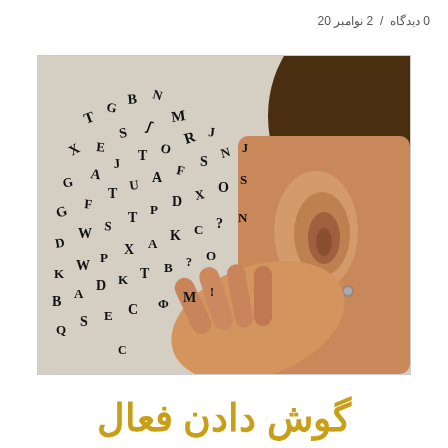0 دیدگاه  /  2 نوامبر 20
[Figure (photo): A person cupping their hand to their ear with scattered alphabet letters flying toward the ear, suggesting listening and language learning.]
گوش دادن فعال